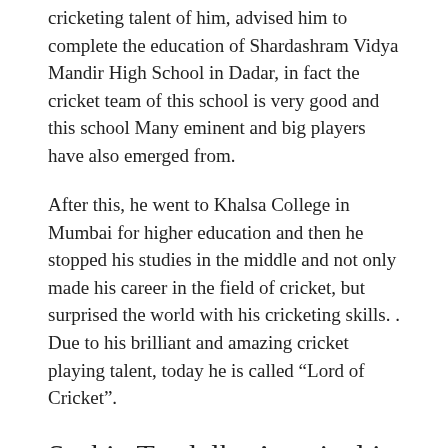cricketing talent of him, advised him to complete the education of Shardashram Vidya Mandir High School in Dadar, in fact the cricket team of this school is very good and this school Many eminent and big players have also emerged from.
After this, he went to Khalsa College in Mumbai for higher education and then he stopped his studies in the middle and not only made his career in the field of cricket, but surprised the world with his cricketing skills. . Due to his brilliant and amazing cricket playing talent, today he is called “Lord of Cricket”.
Sachin Tendulkar’s arrival in cricket world – Sachin Tendulkar Biography